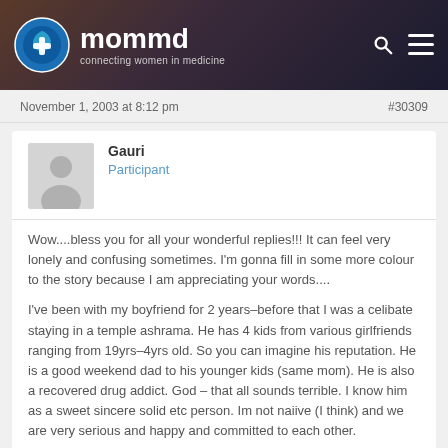[Figure (logo): mommd logo - circle with leaf/plus icon and text 'mommd connecting women in medicine']
November 1, 2003 at 8:12 pm
#30309
[Figure (photo): Default gray avatar placeholder image]
Gauri
Participant
Wow....bless you for all your wonderful replies!!! It can feel very lonely and confusing sometimes. I'm gonna fill in some more colour to the story because I am appreciating your words....
I've been with my boyfriend for 2 years–before that I was a celibate staying in a temple ashrama. He has 4 kids from various girlfriends ranging from 19yrs–4yrs old. So you can imagine his reputation. He is a good weekend dad to his younger kids (same mom). He is also a recovered drug addict. God – that all sounds terrible. I know him as a sweet sincere solid etc person. Im not naiive (I think) and we are very serious and happy and committed to each other.